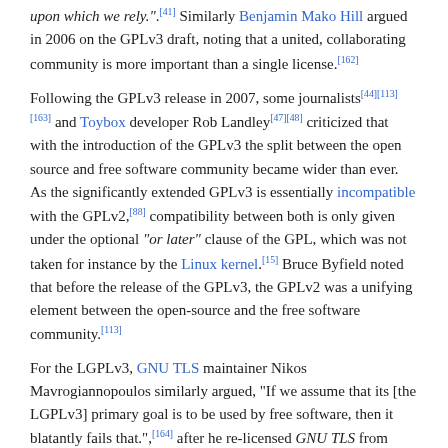upon which we rely.". [41] Similarly Benjamin Mako Hill argued in 2006 on the GPLv3 draft, noting that a united, collaborating community is more important than a single license.[162]
Following the GPLv3 release in 2007, some journalists[44][113][163] and Toybox developer Rob Landley[47][48] criticized that with the introduction of the GPLv3 the split between the open source and free software community became wider than ever. As the significantly extended GPLv3 is essentially incompatible with the GPLv2,[88] compatibility between both is only given under the optional "or later" clause of the GPL, which was not taken for instance by the Linux kernel.[15] Bruce Byfield noted that before the release of the GPLv3, the GPLv2 was a unifying element between the open-source and the free software community.[113]
For the LGPLv3, GNU TLS maintainer Nikos Mavrogiannopoulos similarly argued, "If we assume that its [the LGPLv3] primary goal is to be used by free software, then it blatantly fails that.",[164] after he re-licensed GNU TLS from LGPLv3 back to LGPLv2.1 due to license compatibility issues.[165][166]
Lawrence Rosen, attorney and computer specialist, praised in 2007